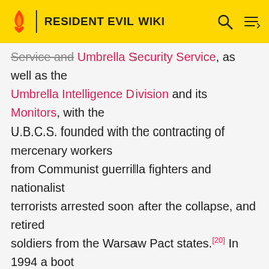RESIDENT EVIL WIKI
Service and Umbrella Security Service, as well as the Umbrella Intelligence Division and its Monitors, with the U.B.C.S. founded with the contracting of mercenary workers from Communist guerrilla fighters and nationalist terrorists arrested soon after the collapse, and retired soldiers from the Warsaw Pact states.[20] In 1994 a boot camp for anti-B.O.W. training was set up on Rockfort Island, administrated by Alfred Ashford, the grandson of Edward. Its military expansion from this point is linked with the U.B.C.S.' founder and commanding officer, Colonel Sergei Vladimir,[21] whose special genes gave Umbrella USA an opportunity to finally mass-produce the Tyrant line by experimenting on his clones.[22] By 1998 Umbrella had an imposing air arm, consisting of UH-60 Black Hawks; AH-6 Little Birds; CH-53 Sea Stallions; AV-8